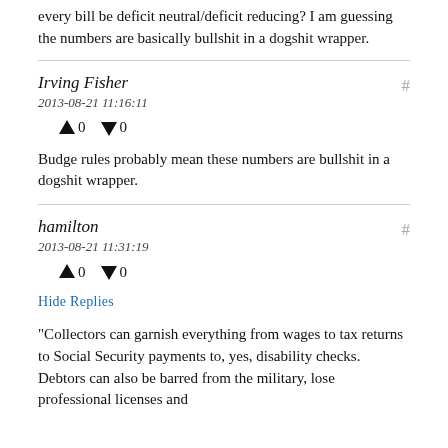every bill be deficit neutral/deficit reducing? I am guessing the numbers are basically bullshit in a dogshit wrapper.
Irving Fisher
2013-08-21 11:16:11
↑ 0 ↓ 0
Budge rules probably mean these numbers are bullshit in a dogshit wrapper.
hamilton
2013-08-21 11:31:19
↑ 0 ↓ 0
Hide Replies
"Collectors can garnish everything from wages to tax returns to Social Security payments to, yes, disability checks. Debtors can also be barred from the military, lose professional licenses and